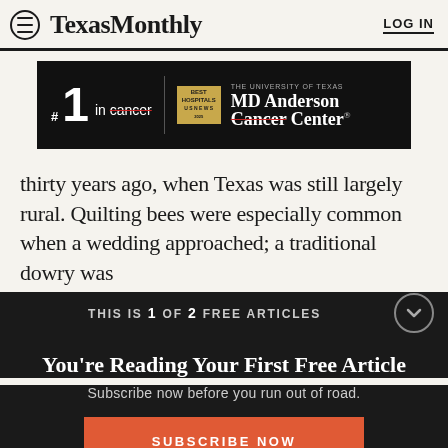Texas Monthly   LOG IN
[Figure (other): MD Anderson Cancer Center advertisement banner: #1 in cancer with strikethrough on 'cancer' in red, Best Hospitals US News badge, MD Anderson Cancer Center logo with strikethrough on 'Cancer' in red]
thirty years ago, when Texas was still largely rural. Quilting bees were especially common when a wedding approached; a traditional dowry was
THIS IS 1 OF 2 FREE ARTICLES
You’re Reading Your First Free Article
Subscribe now before you run out of road.
SUBSCRIBE NOW
Already a subscriber? Log in